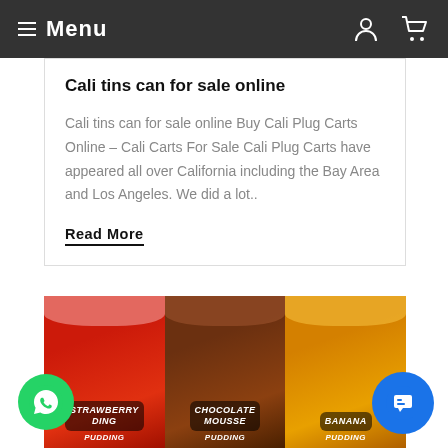Menu
Cali tins can for sale online
Cali tins can for sale online Buy Cali Plug Carts Online – Cali Carts For Sale Cali Plug Carts have appeared all over California including the Bay Area and Los Angeles. We did a lot..
Read More
[Figure (photo): Three flavored pudding cans side by side: Strawberry Ding Pudding (red), Chocolate Mousse Pudding (brown), Banana Pudding (yellow), with drips from the top]